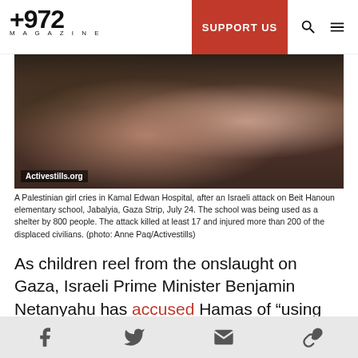+972 MAGAZINE | SUPPORT US
[Figure (photo): A Palestinian girl photographed in a dark setting, appearing distressed.]
A Palestinian girl cries in Kamal Edwan Hospital, after an Israeli attack on Beit Hanoun elementary school, Jabalyia, Gaza Strip, July 24. The school was being used as a shelter by 800 people. The attack killed at least 17 and injured more than 200 of the displaced civilians. (photo: Anne Paq/Activestills)
As children reel from the onslaught on Gaza, Israeli Prime Minister Benjamin Netanyahu has accused Hamas of “using telegenically dead Palestinians for their cause,” putting the responsibility for every child death squarely on Palestinian shoulders.
Social share icons: Facebook, Twitter, Email, Link